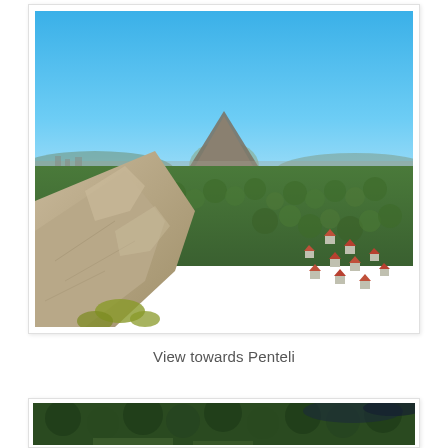[Figure (photo): Panoramic photograph taken from a rocky mountain vantage point looking towards Penteli. The foreground shows rugged limestone rocks with some yellow-green scrub vegetation. The middle ground features a broad green valley covered in dense pine/olive trees with scattered red-roofed houses and suburban development. The background shows the city of Athens spread out and the distinct cone-shaped peak of Mount Penteli in the center under a bright blue sky.]
View towards Penteli
[Figure (photo): Partial aerial or elevated photograph showing a dense forest canopy (dark green) with what appears to be a dark body of water or clearing visible in the upper right. The bottom of the image shows some lighter ground features.]